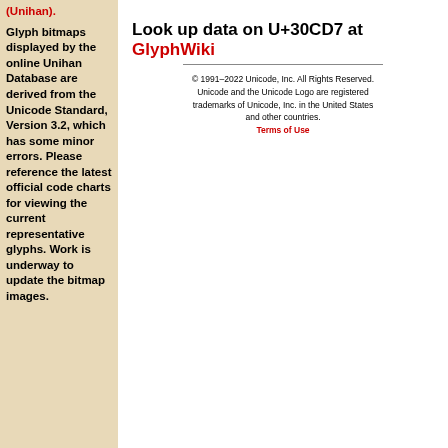(Unihan).
Glyph bitmaps displayed by the online Unihan Database are derived from the Unicode Standard, Version 3.2, which has some minor errors. Please reference the latest official code charts for viewing the current representative glyphs. Work is underway to update the bitmap images.
Look up data on U+30CD7 at GlyphWiki
© 1991–2022 Unicode, Inc. All Rights Reserved. Unicode and the Unicode Logo are registered trademarks of Unicode, Inc. in the United States and other countries. Terms of Use